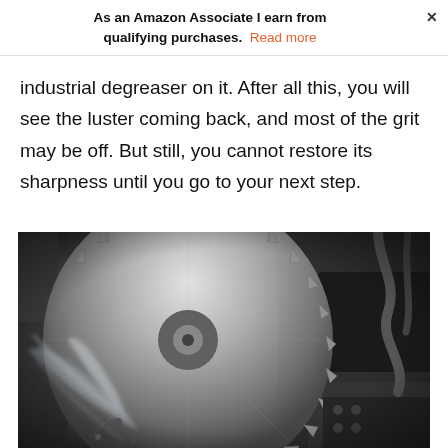As an Amazon Associate I earn from qualifying purchases. Read more
industrial degreaser on it. After all this, you will see the luster coming back, and most of the grit may be off. But still, you cannot restore its sharpness until you go to your next step.
[Figure (photo): Close-up black and white photograph of a circular saw blade being sharpened or cleaned, with water or spray visible hitting the blade teeth. Industrial machinery visible in the background.]